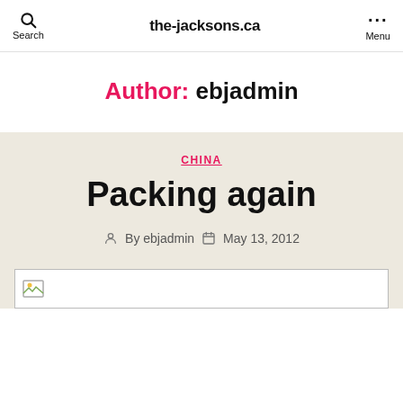the-jacksons.ca
Author: ebjadmin
CHINA
Packing again
By ebjadmin  May 13, 2012
[Figure (photo): Broken/missing image placeholder]